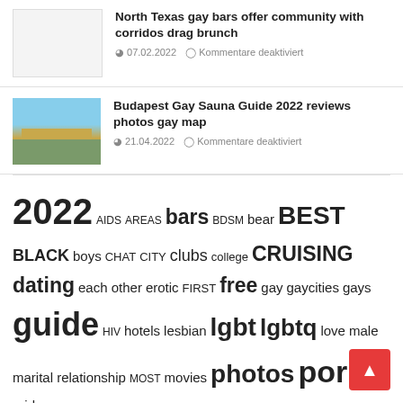[Figure (photo): Blank/grey placeholder thumbnail for article about North Texas gay bars]
North Texas gay bars offer community with corridos drag brunch
07.02.2022  Kommentare deaktiviert
[Figure (photo): Photo of Budapest chain bridge and river, golden-toned landscape]
Budapest Gay Sauna Guide 2022 reviews photos gay map
21.04.2022  Kommentare deaktiviert
2022 AIDS AREAS bars BDSM bear BEST BLACK boys CHAT CITY clubs college CRUISING dating each other erotic FIRST free gay gaycities gays guide HIV hotels lesbian lgbt lgbtq love male marital relationship MOST movies photos porn pride queer REVIEWS sauna search stories STORY tra… various other videos